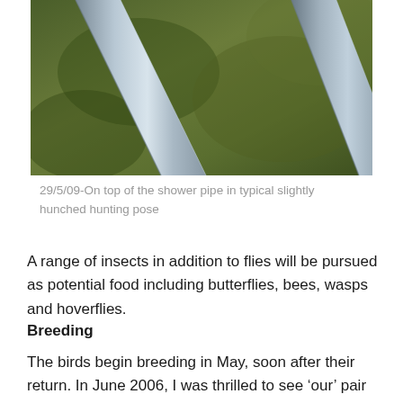[Figure (photo): Close-up photo of a bird perched on top of a metal shower pipe, in a slightly hunched hunting pose, with a blurred green background.]
29/5/09-On top of the shower pipe in typical slightly hunched hunting pose
A range of insects in addition to flies will be pursued as potential food including butterflies, bees, wasps and hoverflies.
Breeding
The birds begin breeding in May, soon after their return. In June 2006, I was thrilled to see ‘our’ pair of flycatchers together with a family of three young ones. They were all gathered on a branch of one of the cork oaks that overlooked the garden at the back of the house and the